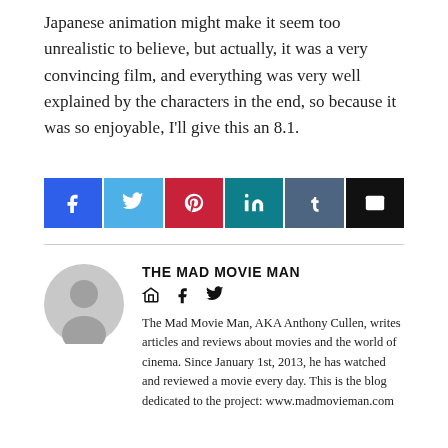Japanese animation might make it seem too unrealistic to believe, but actually, it was a very convincing film, and everything was very well explained by the characters in the end, so because it was so enjoyable, I'll give this an 8.1.
[Figure (infographic): Social share buttons: Facebook (blue), Twitter (light blue), Pinterest (red), LinkedIn (teal), Tumblr (slate blue), Email (black)]
[Figure (illustration): Author profile section with avatar icon, name THE MAD MOVIE MAN, social icons (home, facebook, twitter), and bio text]
The Mad Movie Man, AKA Anthony Cullen, writes articles and reviews about movies and the world of cinema. Since January 1st, 2013, he has watched and reviewed a movie every day. This is the blog dedicated to the project: www.madmovieman.com